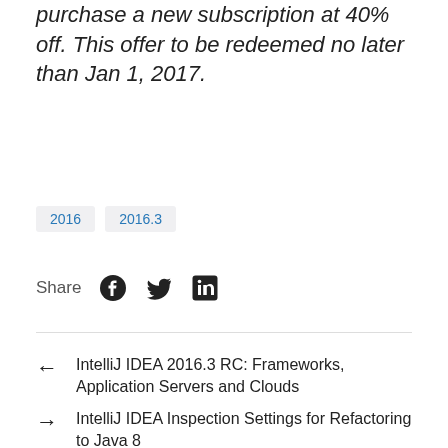purchase a new subscription at 40% off. This offer to be redeemed no later than Jan 1, 2017.
2016  2016.3
Share
← IntelliJ IDEA 2016.3 RC: Frameworks, Application Servers and Clouds
→ IntelliJ IDEA Inspection Settings for Refactoring to Java 8